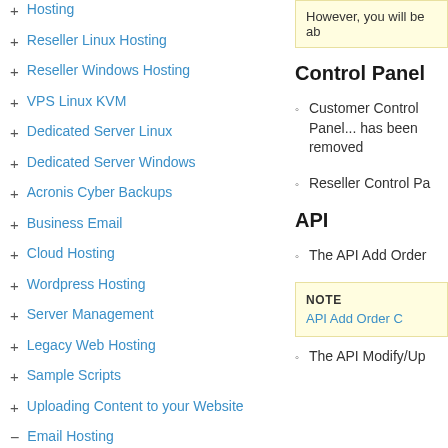+ Hosting
+ Reseller Linux Hosting
+ Reseller Windows Hosting
+ VPS Linux KVM
+ Dedicated Server Linux
+ Dedicated Server Windows
+ Acronis Cyber Backups
+ Business Email
+ Cloud Hosting
+ Wordpress Hosting
+ Server Management
+ Legacy Web Hosting
+ Sample Scripts
+ Uploading Content to your Website
- Email Hosting
○ Using the Email Hosting service
Email Administrator's
However, you will be ab
Control Panel
Customer Control Panel... has been removed
Reseller Control Pa
API
The API Add Order
NOTE
API Add Order C
The API Modify/Up